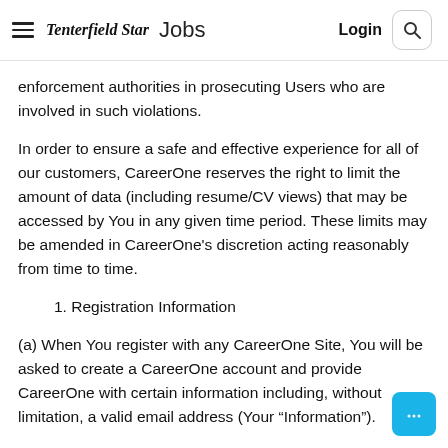Tenterfield Star Jobs  Login [Search]
enforcement authorities in prosecuting Users who are involved in such violations.
In order to ensure a safe and effective experience for all of our customers, CareerOne reserves the right to limit the amount of data (including resume/CV views) that may be accessed by You in any given time period. These limits may be amended in CareerOne's discretion acting reasonably from time to time.
1. Registration Information
(a) When You register with any CareerOne Site, You will be asked to create a CareerOne account and provide CareerOne with certain information including, without limitation, a valid email address (Your “Information”).